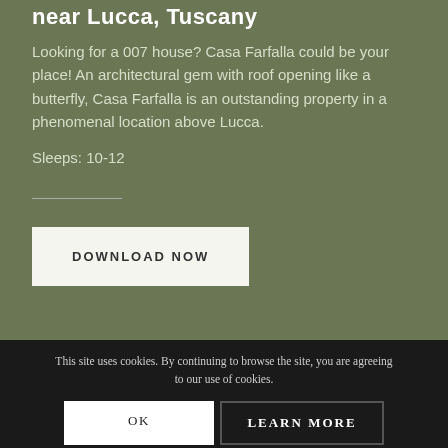near Lucca, Tuscany
Looking for a 007 house? Casa Farfalla could be your place! An architectural gem with roof opening like a butterfly, Casa Farfalla is an outstanding property in a phenomenal location above Lucca.
Sleeps: 10-12
DOWNLOAD NOW
This site uses cookies. By continuing to browse the site, you are agreeing to our use of cookies.
OK
LEARN MORE